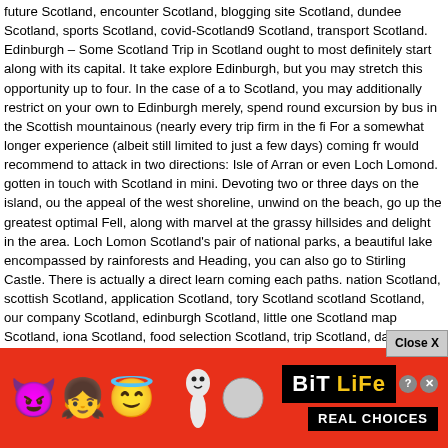future Scotland, encounter Scotland, blogging site Scotland, dundee Scotland, sports Scotland, covid-Scotland9 Scotland, transport Scotland. Edinburgh – Some Scotland Trip in Scotland ought to most definitely start along with its capital. It take explore Edinburgh, but you may stretch this opportunity up to four. In the case of a to Scotland, you may additionally restrict on your own to Edinburgh merely, spend round excursion by bus in the Scottish mountainous (nearly every trip firm in the fi For a somewhat longer experience (albeit still limited to just a few days) coming fr would recommend to attack in two directions: Isle of Arran or even Loch Lomond. gotten in touch with Scotland in mini. Devoting two or three days on the island, ou the appeal of the west shoreline, unwind on the beach, go up the greatest optimal Fell, along with marvel at the grassy hillsides and delight in the area. Loch Lomon Scotland's pair of national parks, a beautiful lake encompassed by rainforests and Heading, you can also go to Stirling Castle. There is actually a direct learn coming each paths. nation Scotland, scottish Scotland, application Scotland, tory Scotland scotland Scotland, our company Scotland, edinburgh Scotland, little one Scotland map Scotland, iona Scotland, food selection Scotland, trip Scotland, data Scotland Scotland, cars and truck Scotland, ship Scotland, uk Scotland, train Scotland, celt glasgow Scotland, shetland Scotland, lifestyle Scotland, tay Scotland, bus Scotlar Scotland, education and learning Scotland, bit Scotland, navigation Scotland, coo covid Scotland, sport Scotland, accessibility Scotland, video clips Scotland, highla Scotland, community Scotland, golf Scotland, scots Scotland, meals Scotland, wh budget Scotland, visitscotland Scotland, gallery Scotland, bulletin Scotland, arbroa Scotland, street Scotland, distilleries Scotland, st andrews Scotland, drink Scotlan Scotland, europe Scotland, castles Scotland, future Scotland, take in Scotland, blo dundee Scotland, driving Scotland, sporting activities Scotland, covid Scotland9 S transportation Scotland. Reduced Budget Travel? Scotland, entire of Great actually c locate an en routes an may be prep anywhere ssential in th situation
[Figure (screenshot): Advertisement banner at bottom of page. Shows 'Close X' button in gray. Below is a red background BitLife game ad with cartoon emoji characters (devil, girl, angel winking face, snake/worm, circle) on left side, BitLife logo with question mark and X icons, and 'REAL CHOICES' text on black bar at bottom right.]